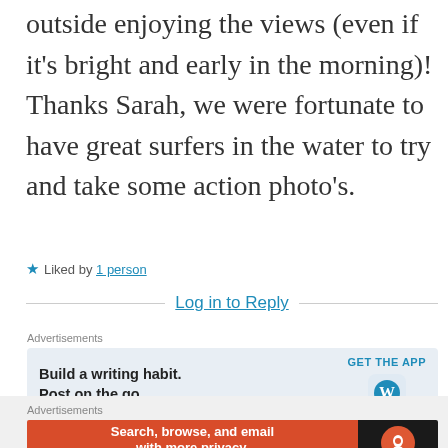outside enjoying the views (even if it's bright and early in the morning)! Thanks Sarah, we were fortunate to have great surfers in the water to try and take some action photo's.
★ Liked by 1 person
Log in to Reply
Advertisements
[Figure (screenshot): WordPress app advertisement: 'Build a writing habit. Post on the go.' with GET THE APP button and WordPress logo]
REPORT THIS AD
Advertisements
[Figure (screenshot): DuckDuckGo advertisement: 'Search, browse, and email with more privacy. All in One Free App' with DuckDuckGo logo on dark background]